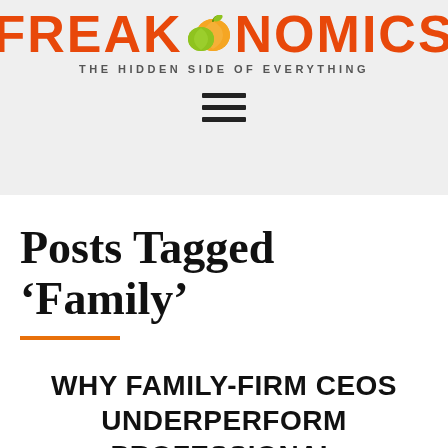FREAKONOMICS — THE HIDDEN SIDE OF EVERYTHING
Posts Tagged ‘Family’
WHY FAMILY-FIRM CEOS UNDERPERFORM PROFESSIONAL CEOS